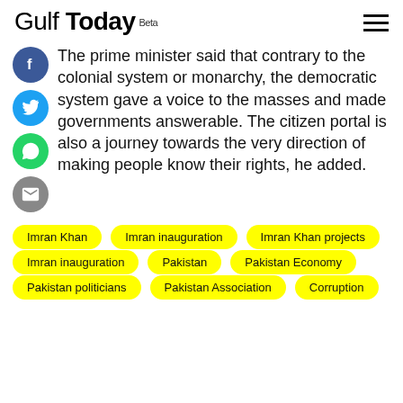Gulf Today Beta
The prime minister said that contrary to the colonial system or monarchy, the democratic system gave a voice to the masses and made governments answerable. The citizen portal is also a journey towards the very direction of making people know their rights, he added.
Imran Khan
Imran inauguration
Imran Khan projects
Imran inauguration
Pakistan
Pakistan Economy
Pakistan politicians
Pakistan Association
Corruption